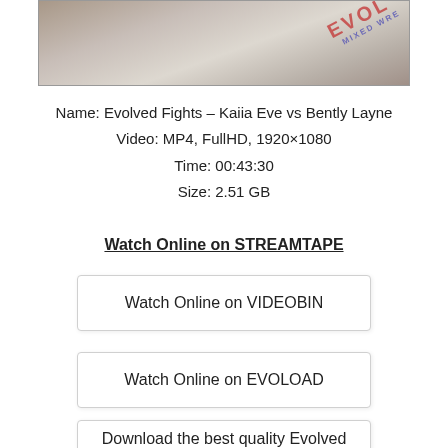[Figure (photo): Two MMA fighters on a mat, one applying a submission hold. An 'Evolved Fights – Mixed Wrestling' logo/banner is visible in the background.]
Name: Evolved Fights – Kaiia Eve vs Bently Layne
Video: MP4, FullHD, 1920×1080
Time: 00:43:30
Size: 2.51 GB
Watch Online on STREAMTAPE
Watch Online on VIDEOBIN
Watch Online on EVOLOAD
Download the best quality Evolved